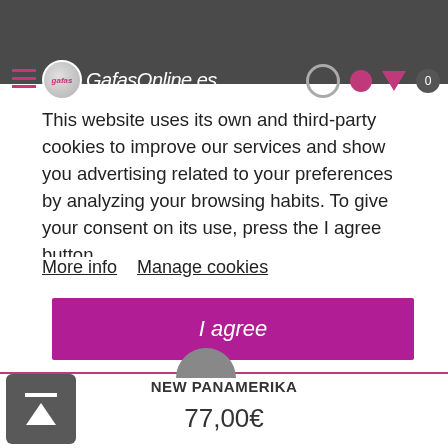GafasOnline.es
This website uses its own and third-party cookies to improve our services and show you advertising related to your preferences by analyzing your browsing habits. To give your consent on its use, press the I agree button.
More info    Manage cookies
I agree
NEW PANAMERIKA
77,00€